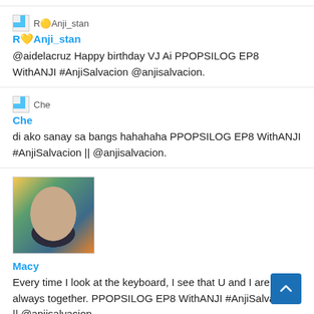R💛Anji_stan
R💛Anji_stan
@aidelacruz Happy birthday VJ Ai PPOPSILOG EP8 WithANJI #AnjiSalvacion @anjisalvacion.
Che
Che
di ako sanay sa bangs hahahaha PPOPSILOG EP8 WithANJI #AnjiSalvacion || @anjisalvacion.
[Figure (photo): Profile photo of Macy, a woman with dark hair, smiling, colorful background]
Macy
Every time I look at the keyboard, I see that U and I are always together. PPOPSILOG EP8 WithANJI #AnjiSalvacion || @anjisalvacion.